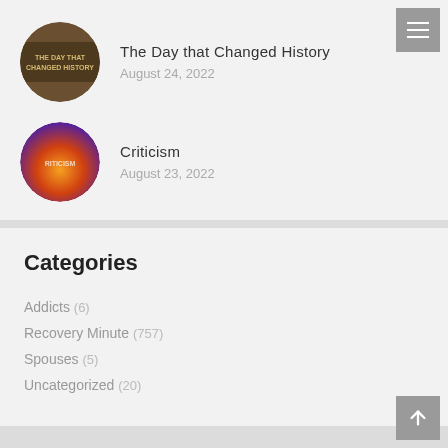[Figure (photo): Circular thumbnail image for 'The Day that Changed History' blog post]
The Day that Changed History
August 24, 2022
[Figure (photo): Circular thumbnail image for 'Criticism' blog post with orange-purple gradient]
Criticism
August 23, 2022
Categories
Addicts (6)
Recovery Minute (757)
Spouses (5)
Uncategorized (20)